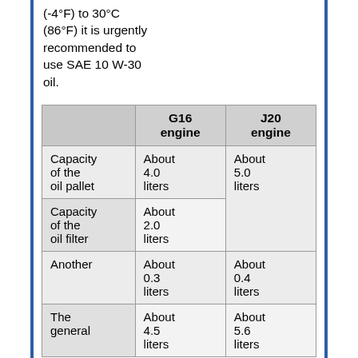(-4°F) to 30°C (86°F) it is urgently recommended to use SAE 10 W-30 oil.
|  | G16 engine | J20 engine |
| --- | --- | --- |
| Capacity of the oil pallet | About 4.0 liters | About 5.0 liters |
| Capacity of the oil filter | About 2.0 liters | About 5.0 liters |
| Another | About 0.3 liters | About 0.4 liters |
| The general | About 4.5 liters | About 5.6 liters |
Capacity of engine oil is